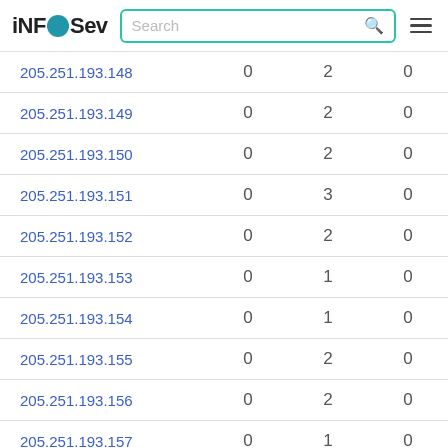iNFOSev — Search bar with hamburger menu
| IP Address |  |  |  |
| --- | --- | --- | --- |
| 205.251.193.148 | 0 | 2 | 0 |
| 205.251.193.149 | 0 | 2 | 0 |
| 205.251.193.150 | 0 | 2 | 0 |
| 205.251.193.151 | 0 | 3 | 0 |
| 205.251.193.152 | 0 | 2 | 0 |
| 205.251.193.153 | 0 | 1 | 0 |
| 205.251.193.154 | 0 | 1 | 0 |
| 205.251.193.155 | 0 | 2 | 0 |
| 205.251.193.156 | 0 | 2 | 0 |
| 205.251.193.157 | 0 | 1 | 0 |